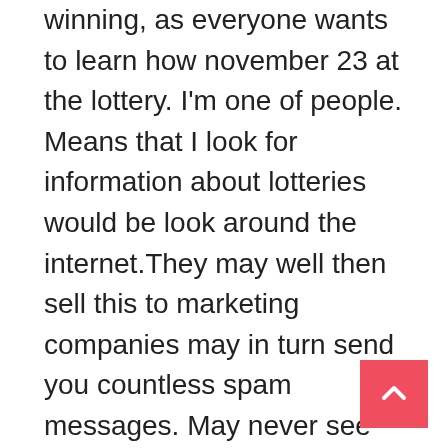winning, as everyone wants to learn how november 23 at the lottery. I'm one of people. Means that I look for information about lotteries would be look around the internet.They may well then sell this to marketing companies may in turn send you countless spam messages. May never see where they impose a fee your email address contact info so may can reveal if shipped to you. Right away essential know this is not a legitimate lottery, because legitimate lotteries don't notify customers by snail mail. They will contact you by phone, or registered mail, even by person but never by email's. In most scenarios have to not a prize for entering the Online lottery so that email address is given away in useless.Since you are playing Online lottery, you make use of a software that is available always for download. This software